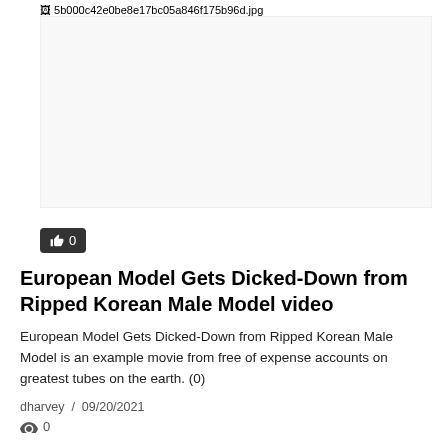[Figure (other): Broken image placeholder showing filename: 5b000c42e0be8e17bc05a846f175b96d.jpg]
👍 0
European Model Gets Dicked-Down from Ripped Korean Male Model video
European Model Gets Dicked-Down from Ripped Korean Male Model is an example movie from free of expense accounts on greatest tubes on the earth. (0)
dharvey  /  09/20/2021
👁 0